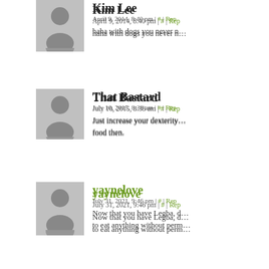Kim Lee — April 9, 2014, 8:40 pm | # | Reply — haha with dogs you never n...
That Bastard — July 10, 2015, 8:38 am | # | Reply — Just increase your dexterity... food then.
yaynelove — July 31, 2021, 9:46 pm | # | Reply — Now that you have Legba, d... to eat anything without perm...
Leave a Reply to Kendra ca...
Enter your comment here...
©2011-2022 A. Stiffler & K. Copeland | Powere...